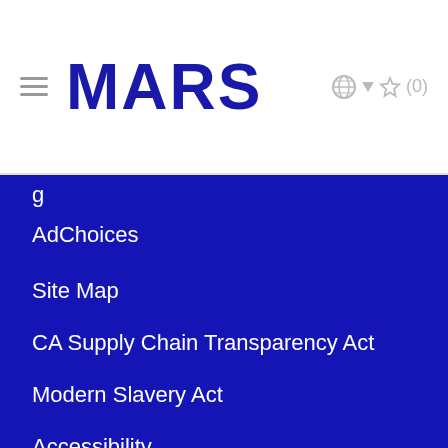MARS
g…
AdChoices
Site Map
CA Supply Chain Transparency Act
Modern Slavery Act
Accessibility
Locations
© 2019 Mars, Incorporated and its Affiliates. All Rights Reser…